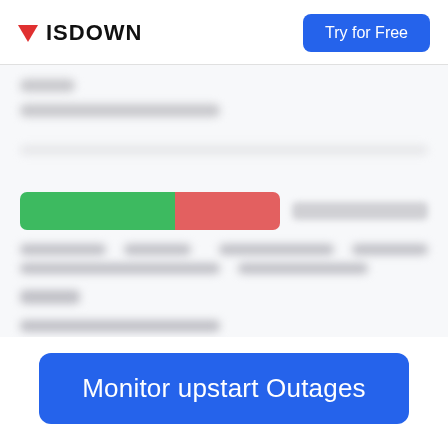ISDOWN
[Figure (screenshot): Blurred screenshot of ISDOWN uptime/outage monitoring dashboard showing uptime timeline with green and red progress bar segments and blurred text content]
Monitor upstart Outages